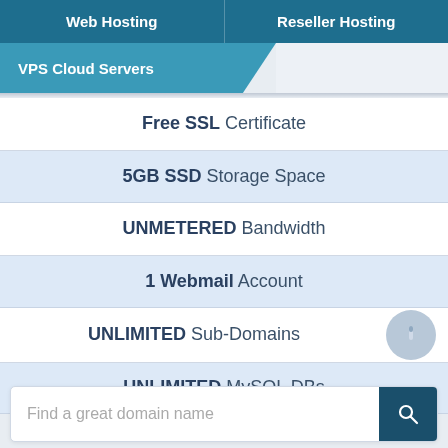Web Hosting | Reseller Hosting
VPS Cloud Servers
Free SSL Certificate
5GB SSD Storage Space
UNMETERED Bandwidth
1 Webmail Account
UNLIMITED Sub-Domains
UNLIMITED MySQL DBs
Find a great domain name